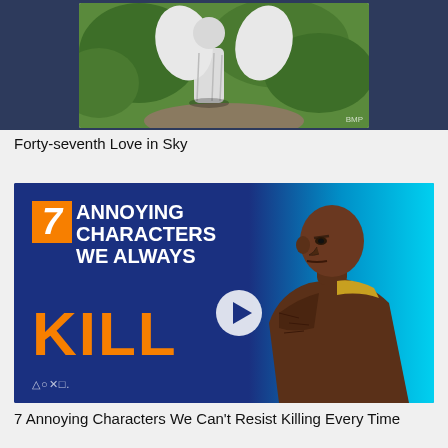[Figure (photo): A white stone angel statue outdoors among green foliage, with a watermark 'BMP' in the lower right corner. The image is set against a dark navy blue background.]
Forty-seventh Love in Sky
[Figure (screenshot): Thumbnail for a gaming video titled '7 Annoying Characters We Always Kill' with large orange and white bold text on a dark blue background. A bald video game character is on the right side. A play button icon is overlaid in the center. PlayStation symbols (triangle, circle, X, square) are visible at the bottom left.]
7 Annoying Characters We Can't Resist Killing Every Time